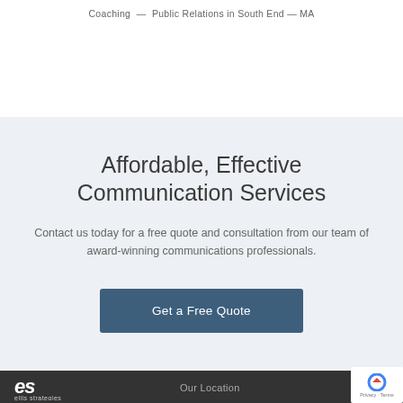Coaching — Public Relations in South End — MA
Affordable, Effective Communication Services
Contact us today for a free quote and consultation from our team of award-winning communications professionals.
Get a Free Quote
ellis strategies   Our Location